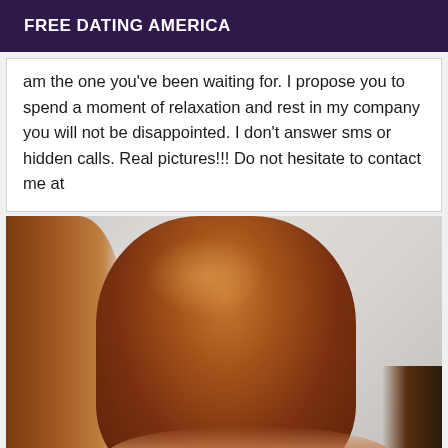FREE DATING AMERICA
am the one you've been waiting for. I propose you to spend a moment of relaxation and rest in my company you will not be disappointed. I don't answer sms or hidden calls. Real pictures!!! Do not hesitate to contact me at
[Figure (photo): Back view of a person with long, wavy auburn/reddish-brown hair, taking a mirror selfie. The image is cropped and shows mostly the hair and bare back/shoulders.]